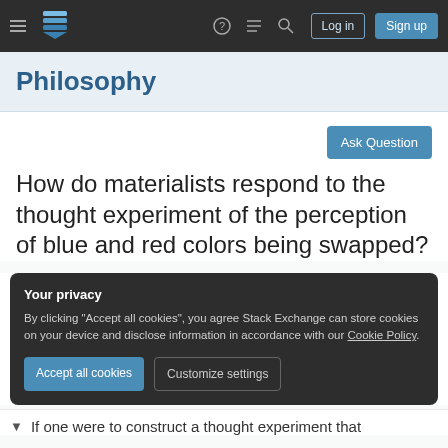Philosophy Stack Exchange navigation header with hamburger menu, logo, help, comments, search icons, Log in and Sign up buttons
Philosophy
Ask Question
How do materialists respond to the thought experiment of the perception of blue and red colors being swapped?
Your privacy
By clicking "Accept all cookies", you agree Stack Exchange can store cookies on your device and disclose information in accordance with our Cookie Policy.
Accept all cookies   Customize settings
If one were to construct a thought experiment that